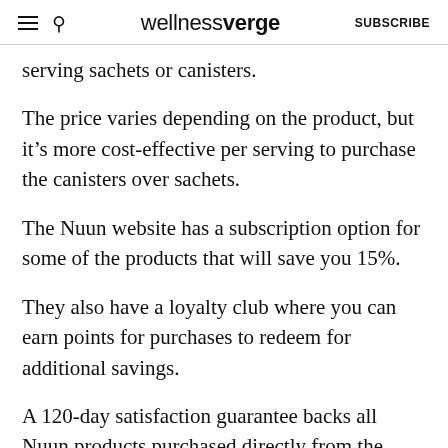wellnessverge | SUBSCRIBE
serving sachets or canisters.
The price varies depending on the product, but it's more cost-effective per serving to purchase the canisters over sachets.
The Nuun website has a subscription option for some of the products that will save you 15%.
They also have a loyalty club where you can earn points for purchases to redeem for additional savings.
A 120-day satisfaction guarantee backs all Nuun products purchased directly from the manufacturer